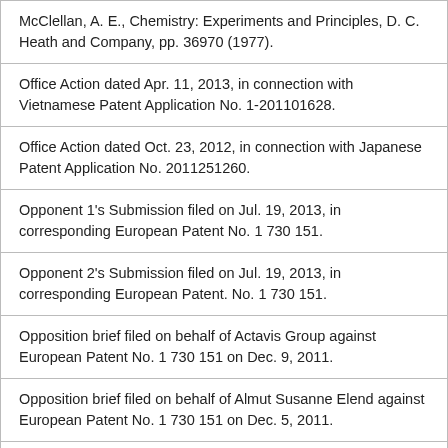McClellan, A. E., Chemistry: Experiments and Principles, D. C. Heath and Company, pp. 36970 (1977).
Office Action dated Apr. 11, 2013, in connection with Vietnamese Patent Application No. 1-201101628.
Office Action dated Oct. 23, 2012, in connection with Japanese Patent Application No. 2011251260.
Opponent 1's Submission filed on Jul. 19, 2013, in corresponding European Patent No. 1 730 151.
Opponent 2's Submission filed on Jul. 19, 2013, in corresponding European Patent. No. 1 730 151.
Opposition brief filed on behalf of Actavis Group against European Patent No. 1 730 151 on Dec. 9, 2011.
Opposition brief filed on behalf of Almut Susanne Elend against European Patent No. 1 730 151 on Dec. 5, 2011.
Organic Chemistry 2 Laboratory Manual Flinders University, pp. 7, 9, 10, and 13 to 37 (2002).
Organic Chemistry 3 Laboratory Manual Flinders University, pp. 5-12 (2002).